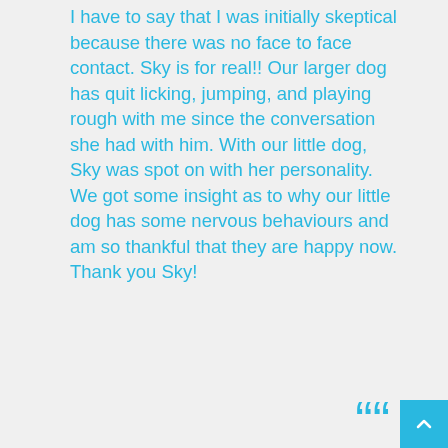I have to say that I was initially skeptical because there was no face to face contact. Sky is for real!! Our larger dog has quit licking, jumping, and playing rough with me since the conversation she had with him. With our little dog, Sky was spot on with her personality. We got some insight as to why our little dog has some nervous behaviours and am so thankful that they are happy now. Thank you Sky!